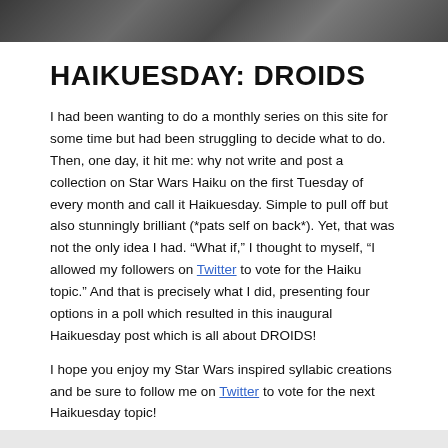[Figure (photo): Partial view of Star Wars droids/robots in a dark metallic scene, cropped at top]
HAIKUESDAY: DROIDS
I had been wanting to do a monthly series on this site for some time but had been struggling to decide what to do. Then, one day, it hit me: why not write and post a collection on Star Wars Haiku on the first Tuesday of every month and call it Haikuesday. Simple to pull off but also stunningly brilliant (*pats self on back*). Yet, that was not the only idea I had. “What if,” I thought to myself, “I allowed my followers on Twitter to vote for the Haiku topic.” And that is precisely what I did, presenting four options in a poll which resulted in this inaugural Haikuesday post which is all about DROIDS!
I hope you enjoy my Star Wars inspired syllabic creations and be sure to follow me on Twitter to vote for the next Haikuesday topic!